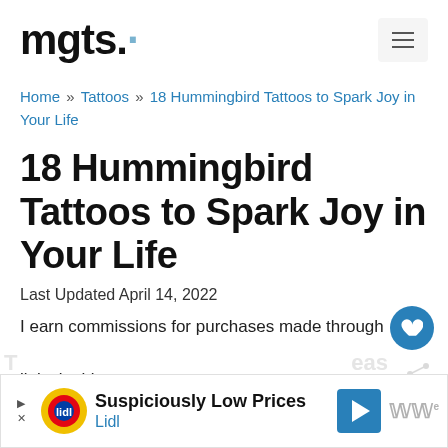mgts.
Home » Tattoos » 18 Hummingbird Tattoos to Spark Joy in Your Life
18 Hummingbird Tattoos to Spark Joy in Your Life
Last Updated April 14, 2022
I earn commissions for purchases made through links in this post.
[Figure (other): Advertisement banner for Lidl: Suspiciously Low Prices with Lidl logo and navigation icon]